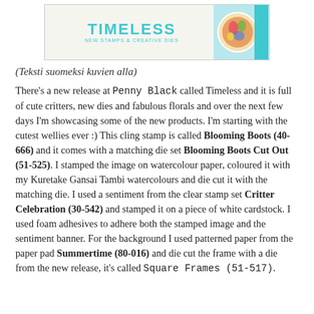[Figure (illustration): Banner image for Penny Black 'Timeless' new stamps and creative dies release, with floral card on right side and teal accent.]
(Teksti suomeksi kuvien alla)
There's a new release at Penny Black called Timeless and it is full of cute critters, new dies and fabulous florals and over the next few days I'm showcasing some of the new products. I'm starting with the cutest wellies ever :) This cling stamp is called Blooming Boots (40-666) and it comes with a matching die set Blooming Boots Cut Out (51-525). I stamped the image on watercolour paper, coloured it with my Kuretake Gansai Tambi watercolours and die cut it with the matching die. I used a sentiment from the clear stamp set Critter Celebration (30-542) and stamped it on a piece of white cardstock. I used foam adhesives to adhere both the stamped image and the sentiment banner. For the background I used patterned paper from the paper pad Summertime (80-016) and die cut the frame with a die from the new release, it's called Square Frames (51-517).